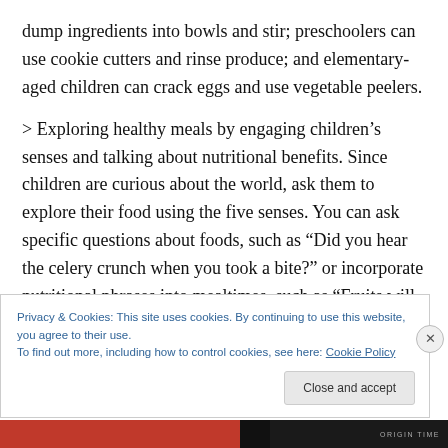dump ingredients into bowls and stir; preschoolers can use cookie cutters and rinse produce; and elementary-aged children can crack eggs and use vegetable peelers.
> Exploring healthy meals by engaging children's senses and talking about nutritional benefits. Since children are curious about the world, ask them to explore their food using the five senses. You can ask specific questions about foods, such as “Did you hear the celery crunch when you took a bite?” or incorporate nutritional phrases into mealtimes, such as “Fruits will give my body energy.”
Privacy & Cookies: This site uses cookies. By continuing to use this website, you agree to their use.
To find out more, including how to control cookies, see here: Cookie Policy